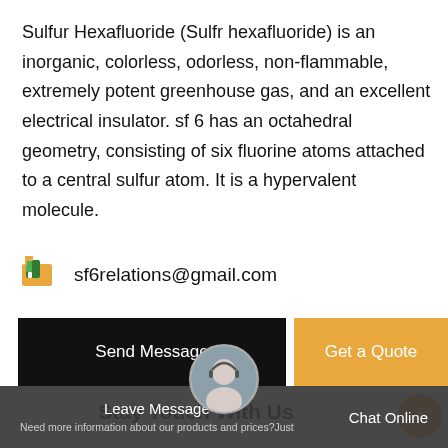Sulfur Hexafluoride (Sulfr hexafluoride) is an inorganic, colorless, odorless, non-flammable, extremely potent greenhouse gas, and an excellent electrical insulator. sf 6 has an octahedral geometry, consisting of six fluorine atoms attached to a central sulfur atom. It is a hypervalent molecule.
sf6relations@gmail.com
Send Message
Get a Quote
Stay Touch With Us
Leave Message  Chat Online  Need more information about our products and prices?Just